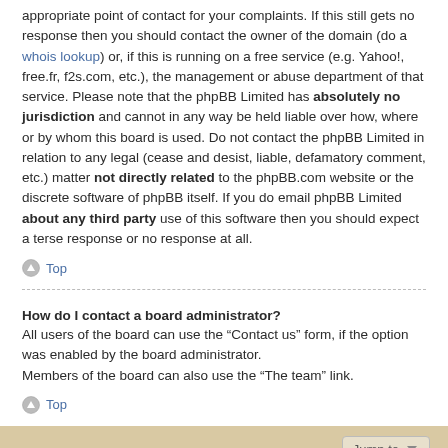appropriate point of contact for your complaints. If this still gets no response then you should contact the owner of the domain (do a whois lookup) or, if this is running on a free service (e.g. Yahoo!, free.fr, f2s.com, etc.), the management or abuse department of that service. Please note that the phpBB Limited has absolutely no jurisdiction and cannot in any way be held liable over how, where or by whom this board is used. Do not contact the phpBB Limited in relation to any legal (cease and desist, liable, defamatory comment, etc.) matter not directly related to the phpBB.com website or the discrete software of phpBB itself. If you do email phpBB Limited about any third party use of this software then you should expect a terse response or no response at all.
Top
How do I contact a board administrator?
All users of the board can use the “Contact us” form, if the option was enabled by the board administrator.
Members of the board can also use the “The team” link.
Top
Jump to
Board index
All times are UTC+01:00
Powered by phpBB® Forum Software © phpBB Limited